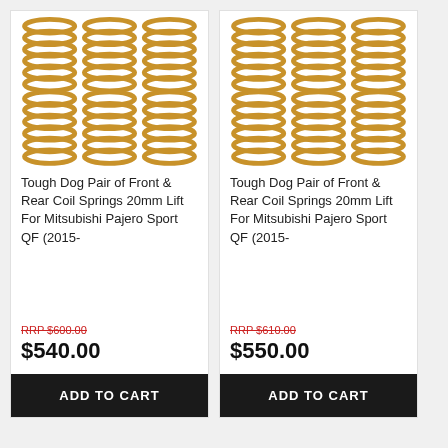[Figure (photo): Tough Dog gold/yellow coil springs, multiple springs arranged in two rows]
Tough Dog Pair of Front & Rear Coil Springs 20mm Lift For Mitsubishi Pajero Sport QF (2015-
RRP $600.00
$540.00
ADD TO CART
[Figure (photo): Tough Dog gold/yellow coil springs, multiple springs arranged in two rows]
Tough Dog Pair of Front & Rear Coil Springs 20mm Lift For Mitsubishi Pajero Sport QF (2015-
RRP $610.00
$550.00
ADD TO CART